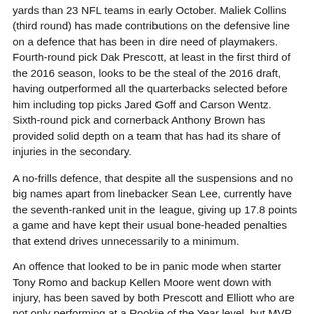yards than 23 NFL teams in early October. Maliek Collins (third round) has made contributions on the defensive line on a defence that has been in dire need of playmakers. Fourth-round pick Dak Prescott, at least in the first third of the 2016 season, looks to be the steal of the 2016 draft, having outperformed all the quarterbacks selected before him including top picks Jared Goff and Carson Wentz. Sixth-round pick and cornerback Anthony Brown has provided solid depth on a team that has had its share of injuries in the secondary.
A no-frills defence, that despite all the suspensions and no big names apart from linebacker Sean Lee, currently have the seventh-ranked unit in the league, giving up 17.8 points a game and have kept their usual bone-headed penalties that extend drives unnecessarily to a minimum.
An offence that looked to be in panic mode when starter Tony Romo and backup Kellen Moore went down with injury, has been saved by both Prescott and Elliott who are not only performing at a Rookie of the Year level, but MVP consideration as well. Wide receivers Cole Beasley and Terrance Williams have elevated their game after an injury to Pro Bowler Dez Bryant, getting extra time